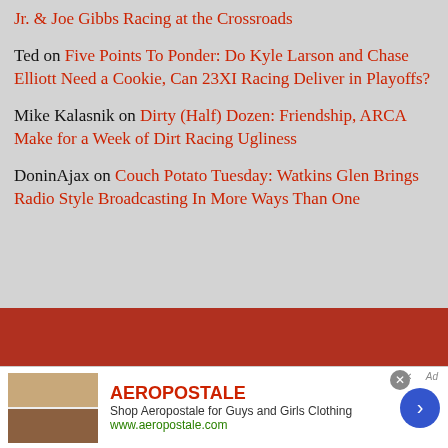Jr. & Joe Gibbs Racing at the Crossroads
Ted on Five Points To Ponder: Do Kyle Larson and Chase Elliott Need a Cookie, Can 23XI Racing Deliver in Playoffs?
Mike Kalasnik on Dirty (Half) Dozen: Friendship, ARCA Make for a Week of Dirt Racing Ugliness
DoninAjax on Couch Potato Tuesday: Watkins Glen Brings Radio Style Broadcasting In More Ways Than One
[Figure (infographic): Aeropostale advertisement banner with brand logo, tagline 'Shop Aeropostale for Guys and Girls Clothing', URL www.aeropostale.com, clothing images on left, blue arrow button on right]